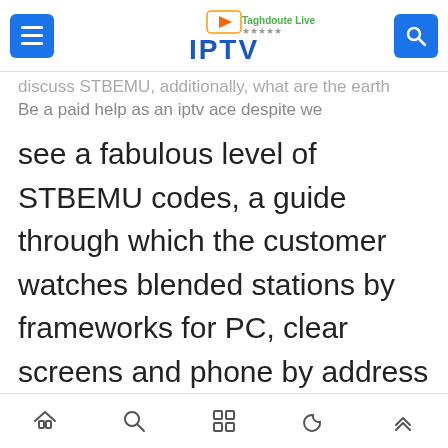Taghdoute Live IPTV
discuss STBEMU, additionally, what are the earth codes of STBEMU?
Be a paid help as an iptv ace despite we see a fabulous level of STBEMU codes, a guide through which the customer watches blended stations by frameworks for PC, clear screens and phone by address or (address) as a public presentation without code of part and by structures for strong macintosh (ADDRES) of the position and inside the wake of entering that information, the stations coded inside the code 5th Fro...
Navigation icons: home, search, apps, moon, up